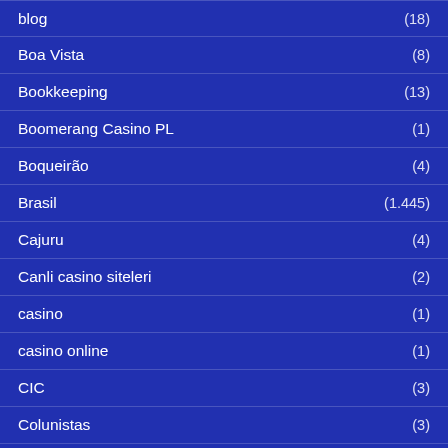blog (18)
Boa Vista (8)
Bookkeeping (13)
Boomerang Casino PL (1)
Boqueirão (4)
Brasil (1.445)
Cajuru (4)
Canli casino siteleri (2)
casino (1)
casino online (1)
CIC (3)
Colunistas (3)
Crypto Exchange (2)